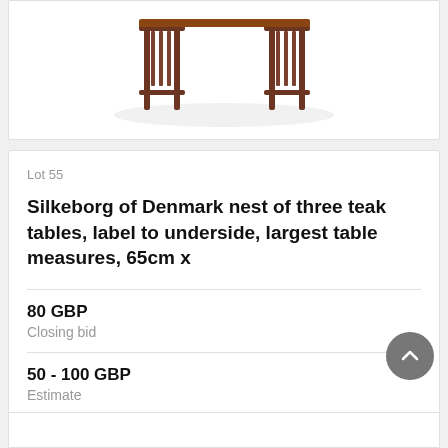[Figure (photo): Silkeborg of Denmark nest of three teak tables, partially visible at top of page, showing the wooden frame structure against white background]
Lot 55
Silkeborg of Denmark nest of three teak tables, label to underside, largest table measures, 65cm x
80 GBP
Closing bid
50 - 100 GBP
Estimate
VIEW
Lot closed
Lot location: Cheltenham, Gloucestershire